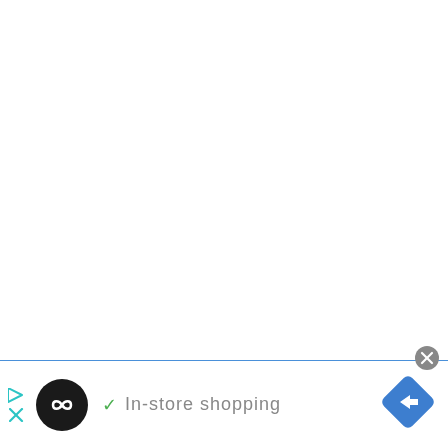[Figure (screenshot): Bottom UI bar with close button (X in gray circle), play/stop controls in teal, a black circular logo with infinity-like symbol, a green checkmark, 'In-store shopping' text in gray, and a blue navigation diamond arrow icon on the right.]